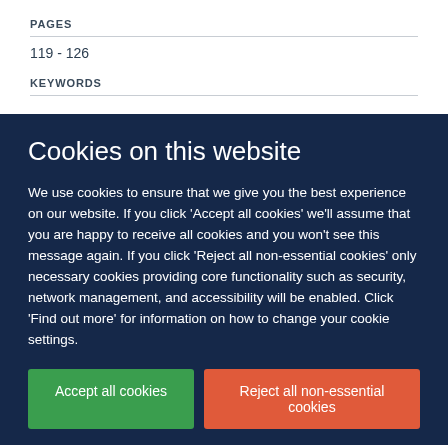PAGES
119 - 126
KEYWORDS
Cookies on this website
We use cookies to ensure that we give you the best experience on our website. If you click 'Accept all cookies' we'll assume that you are happy to receive all cookies and you won't see this message again. If you click 'Reject all non-essential cookies' only necessary cookies providing core functionality such as security, network management, and accessibility will be enabled. Click 'Find out more' for information on how to change your cookie settings.
Accept all cookies
Reject all non-essential cookies